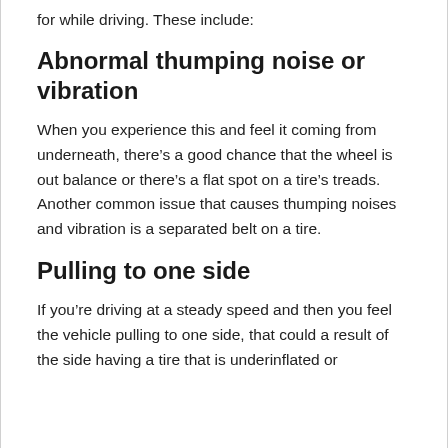for while driving. These include:
Abnormal thumping noise or vibration
When you experience this and feel it coming from underneath, there’s a good chance that the wheel is out balance or there’s a flat spot on a tire’s treads. Another common issue that causes thumping noises and vibration is a separated belt on a tire.
Pulling to one side
If you’re driving at a steady speed and then you feel the vehicle pulling to one side, that could a result of the side having a tire that is underinflated or